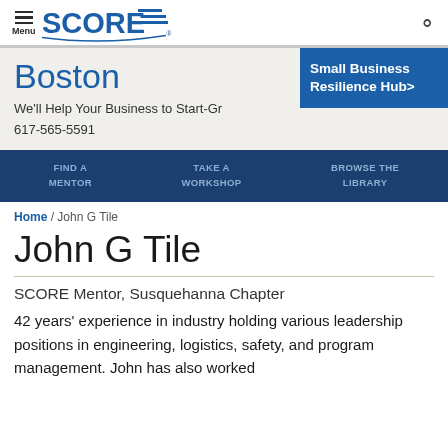Menu | SCORE
Boston
We'll Help Your Business to Start-Grow | Small Business Resilience Hub> | 617-565-5591
FIND A MENTOR | TAKE A WORKSHOP | BROWSE THE LIBRARY
Home / John G Tile
John G Tile
SCORE Mentor, Susquehanna Chapter
42 years' experience in industry holding various leadership positions in engineering, logistics, safety, and program management. John has also worked